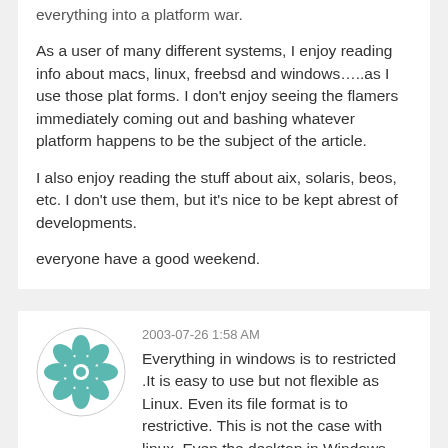everything into a platform war.
As a user of many different systems, I enjoy reading info about macs, linux, freebsd and windows…..as I use those plat forms. I don't enjoy seeing the flamers immediately coming out and bashing whatever platform happens to be the subject of the article.
I also enjoy reading the stuff about aix, solaris, beos, etc. I don't use them, but it's nice to be kept abrest of developments.
everyone have a good weekend.
2003-07-26 1:58 AM
[Figure (illustration): Circular avatar icon with teal/green geometric star/flower pattern on white background]
Everything in windows is to restricted .It is easy to use but not flexible as Linux. Even its file format is to restrictive. This is not the case with linux. Even the desktop in Windows doesnt allows to change and Even if the freeware software for changing desktop is available, there is no gaurantee that it will work. OS should mean freedom